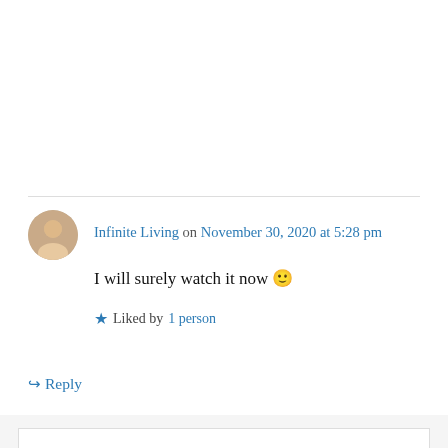Infinite Living on November 30, 2020 at 5:28 pm
I will surely watch it now 🙂
★ Liked by 1 person
↪ Reply
Privacy & Cookies: This site uses cookies. By continuing to use this website, you agree to their use. To find out more, including how to control cookies, see here: Cookie Policy
Close and accept